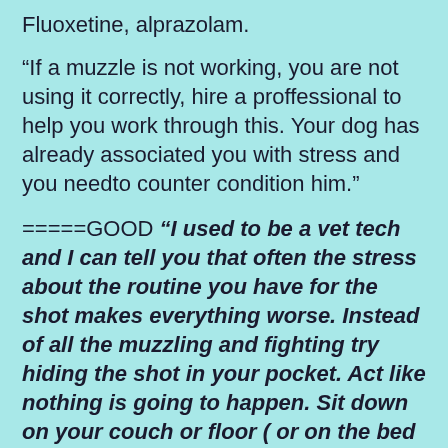Fluoxetine, alprazolam.
“If a muzzle is not working, you are not using it correctly, hire a proffessional to help you work through this. Your dog has already associated you with stress and you needto counter condition him.”
=====GOOD ONE==========>  “I used to be a vet tech and I can tell you that often the stress about the routine you have for the shot makes everything worse. Instead of all the muzzling and fighting try hiding the shot in your pocket. Act like nothing is going to happen. Sit down on your couch or floor ( or on the bed if your dog is allowed there) ask your dog to come lie next to